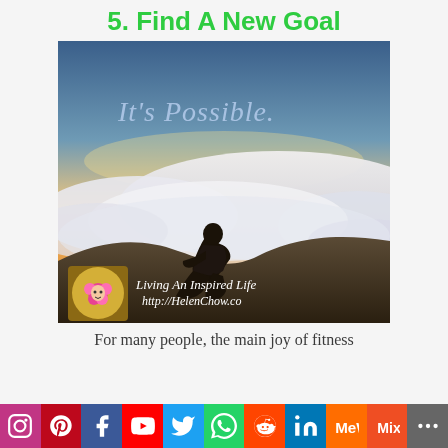5. Find A New Goal
[Figure (photo): Inspirational photo of a person sitting on a rock above the clouds at sunrise/sunset, with cursive text 'It's Possible.' and branding 'Living An Inspired Life http://HelenChow.co']
For many people, the main joy of fitness
[Figure (infographic): Social media sharing bar with icons for Instagram, Pinterest, Facebook, YouTube, Twitter, WhatsApp, Reddit, LinkedIn, MeWe, Mix, and More]